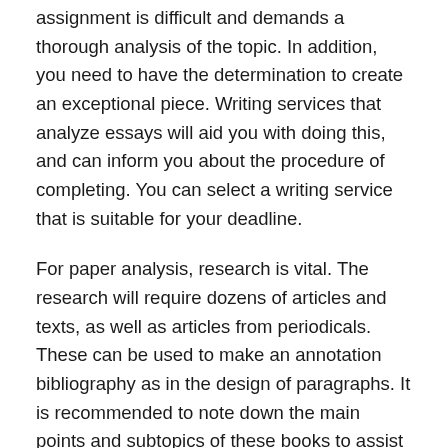assignment is difficult and demands a thorough analysis of the topic. In addition, you need to have the determination to create an exceptional piece. Writing services that analyze essays will aid you with doing this, and can inform you about the procedure of completing. You can select a writing service that is suitable for your deadline.
For paper analysis, research is vital. The research will require dozens of articles and texts, as well as articles from periodicals. These can be used to make an annotation bibliography as in the design of paragraphs. It is recommended to note down the main points and subtopics of these books to assist you in adhere to these sources. You can then write each topic down and continue to the conclusion.